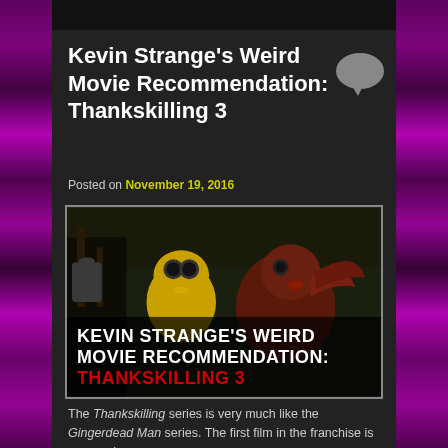Kevin Strange’s Weird Movie Recommendation: Thankskilling 3
Posted on November 19, 2016
[Figure (photo): Movie promotional image for Thankskilling 3 showing two costumed bird/turkey characters with text overlay reading KEVIN STRANGE’S WEIRD MOVIE RECOMMENDATION: THANKSKILLING 3]
The Thankskilling series is very much like the Gingerdead Man series. The first film in the franchise is a super low